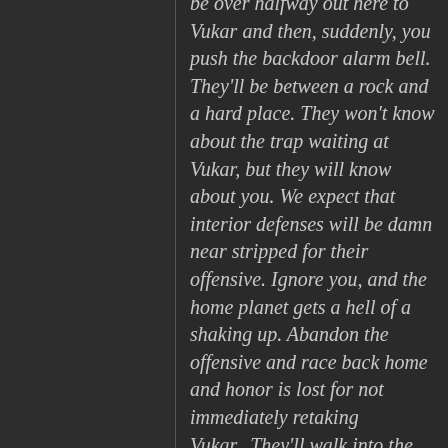be over halfway out here to Vukar and then, suddenly, you push the backdoor alarm bell. They'll be between a rock and a hard place. They won't know about the trap waiting at Vukar, but they will know about you. We expect that interior defenses will be damn near stripped for their offensive. Ignore you, and the home planet gets a hell of a shaking up. Abandon the offensive and race back home and honor is lost for not immediately retaking Vukar...They'll walk into the trap with part of their fleet missing and we'll smash it